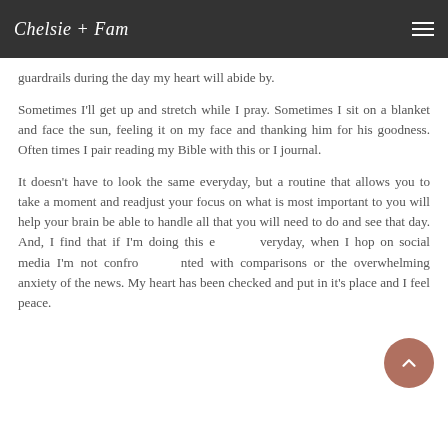Chelsie + Fam
guardrails during the day my heart will abide by.
Sometimes I'll get up and stretch while I pray. Sometimes I sit on a blanket and face the sun, feeling it on my face and thanking him for his goodness. Often times I pair reading my Bible with this or I journal.
It doesn't have to look the same everyday, but a routine that allows you to take a moment and readjust your focus on what is most important to you will help your brain be able to handle all that you will need to do and see that day. And, I find that if I'm doing this everyday, when I hop on social media I'm not confronted with comparisons or the overwhelming anxiety of the news. My heart has been checked and put in it's place and I feel peace.